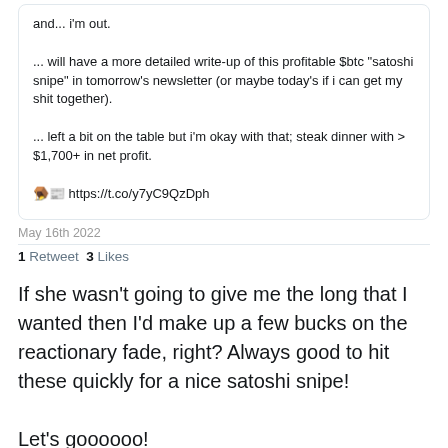and... i'm out.

... will have a more detailed write-up of this profitable $btc "satoshi snipe" in tomorrow's newsletter (or maybe today's if i can get my shit together).

... left a bit on the table but i'm okay with that; steak dinner with > $1,700+ in net profit.

🪤📰 https://t.co/y7yC9QzDph
May 16th 2022
1 Retweet  3 Likes
If she wasn't going to give me the long that I wanted then I'd make up a few bucks on the reactionary fade, right? Always good to hit these quickly for a nice satoshi snipe!

Let's goooooo!